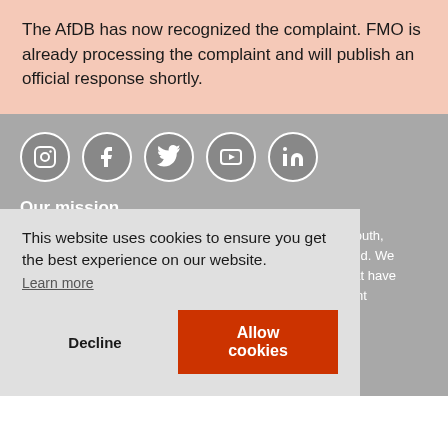The AfDB has now recognized the complaint. FMO is already processing the complaint and will publish an official response shortly.
[Figure (infographic): Five social media icons in white circles on gray background: Instagram, Facebook, Twitter, YouTube, LinkedIn]
Our mission
Together with environmental justice groups from the Global South, ...orld. We hat have oint nd we
This website uses cookies to ensure you get the best experience on our website. Learn more
Decline
Allow cookies
The Netherlands